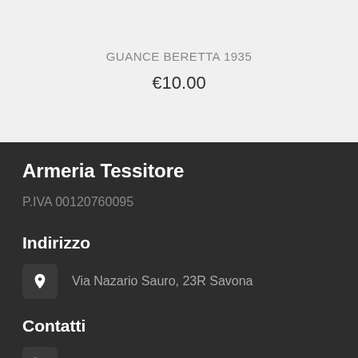GUANCE BERETTA 1935
€10.00
Armeria Tessitore
P.IVA 00120760095
Indirizzo
Via Nazario Sauro, 23R Savona
Contatti
019 824684